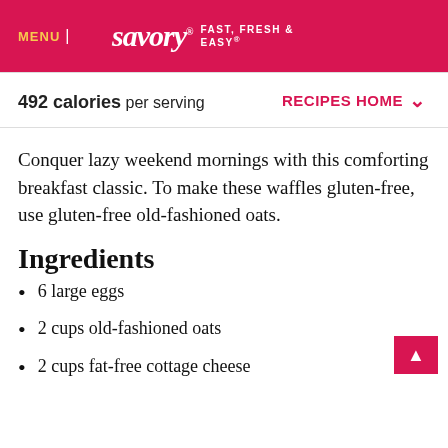MENU | savory® FAST, FRESH & EASY®
492 calories per serving  RECIPES HOME
Conquer lazy weekend mornings with this comforting breakfast classic. To make these waffles gluten-free, use gluten-free old-fashioned oats.
Ingredients
6 large eggs
2 cups old-fashioned oats
2 cups fat-free cottage cheese